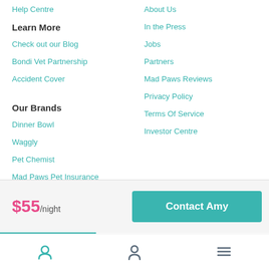Help Centre
Learn More
Check out our Blog
Bondi Vet Partnership
Accident Cover
Our Brands
Dinner Bowl
Waggly
Pet Chemist
Mad Paws Pet Insurance
Our Services
About Us
In the Press
Jobs
Partners
Mad Paws Reviews
Privacy Policy
Terms Of Service
Investor Centre
$55/night
Contact Amy